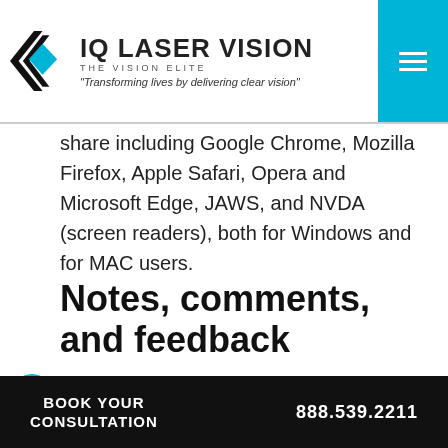[Figure (logo): IQ Laser Vision logo with chevron/eye icon, tagline 'THE VISION ELITE', quote 'Transforming lives by delivering clear vision']
share including Google Chrome, Mozilla Firefox, Apple Safari, Opera and Microsoft Edge, JAWS, and NVDA (screen readers), both for Windows and for MAC users.
Notes, comments, and feedback
Despite our very best efforts to allow anybody to adjust the website to their needs, there may still be
BOOK YOUR CONSULTATION   888.539.2211